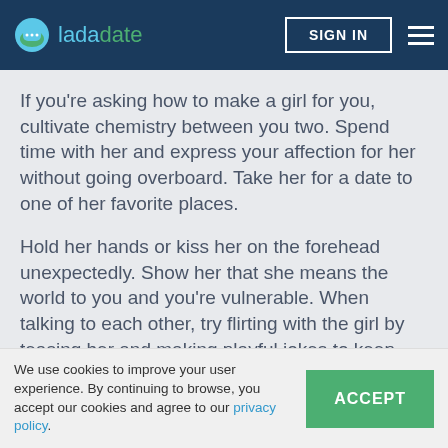ladadate — SIGN IN
If you're asking how to make a girl for you, cultivate chemistry between you two. Spend time with her and express your affection for her without going overboard. Take her for a date to one of her favorite places.
Hold her hands or kiss her on the forehead unexpectedly. Show her that she means the world to you and you're vulnerable. When talking to each other, try flirting with the girl by teasing her and making playful jokes to keep things fun. You will become emotionally attached, and she will fall in love with you.
We use cookies to improve your user experience. By continuing to browse, you accept our cookies and agree to our privacy policy.